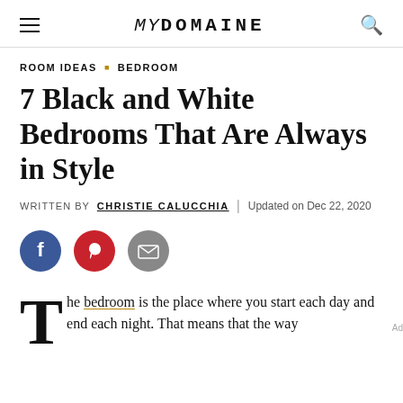MYDOMAINE
ROOM IDEAS  ▪  BEDROOM
7 Black and White Bedrooms That Are Always in Style
WRITTEN BY CHRISTIE CALUCCHIA  |  Updated on Dec 22, 2020
[Figure (other): Social share buttons: Facebook (blue circle), Pinterest (red circle), Email (grey circle)]
The bedroom is the place where you start each day and end each night. That means that the way